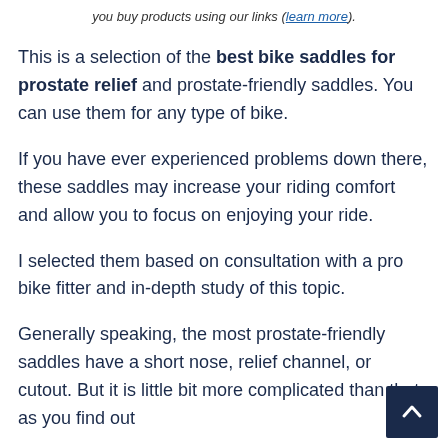you buy products using our links (learn more).
This is a selection of the best bike saddles for prostate relief and prostate-friendly saddles. You can use them for any type of bike.
If you have ever experienced problems down there, these saddles may increase your riding comfort and allow you to focus on enjoying your ride.
I selected them based on consultation with a pro bike fitter and in-depth study of this topic.
Generally speaking, the most prostate-friendly saddles have a short nose, relief channel, or cutout. But it is little bit more complicated than that, as you find out